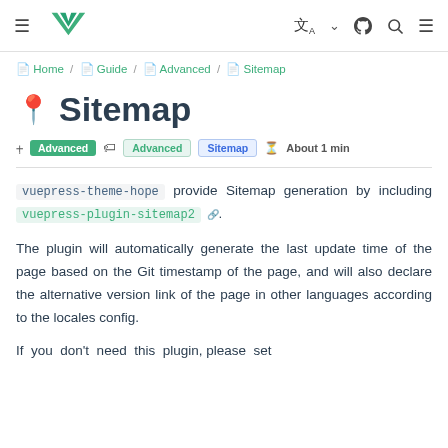≡  [VuePress logo]  🌐 ∨  [GitHub]  🔍  ≡
🏠 Home / 📗 Guide / 📗 Advanced / 📗 Sitemap
🗺 Sitemap
Advanced  Advanced  Sitemap  ⌛ About 1 min
vuepress-theme-hope provide Sitemap generation by including vuepress-plugin-sitemap2 🔗.
The plugin will automatically generate the last update time of the page based on the Git timestamp of the page, and will also declare the alternative version link of the page in other languages according to the locales config.
If you don't need this plugin, please set